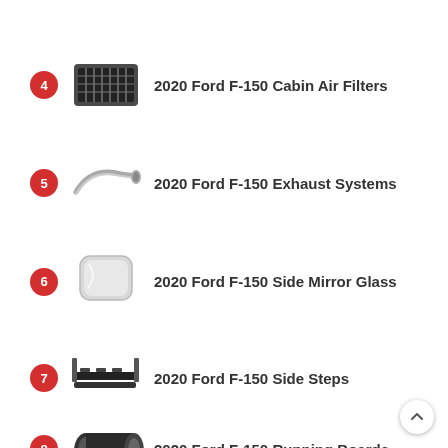4 2020 Ford F-150 Cabin Air Filters
5 2020 Ford F-150 Exhaust Systems
6 2020 Ford F-150 Side Mirror Glass
7 2020 Ford F-150 Side Steps
8 2020 Ford F-150 Running Boards